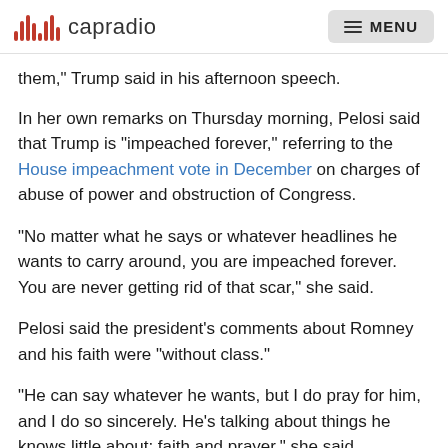capradio   MENU
them," Trump said in his afternoon speech.
In her own remarks on Thursday morning, Pelosi said that Trump is "impeached forever," referring to the House impeachment vote in December on charges of abuse of power and obstruction of Congress.
"No matter what he says or whatever headlines he wants to carry around, you are impeached forever. You are never getting rid of that scar," she said.
Pelosi said the president's comments about Romney and his faith were "without class."
"He can say whatever he wants, but I do pray for him, and I do so sincerely. He's talking about things he knows little about: faith and prayer," she said.